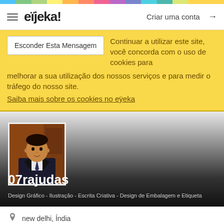[Figure (screenshot): Rainbow colored top bar]
eïjeka! Criar uma conta →
Esconder Esta Mensagem — Continuar a utilizar este site, você concorda com o uso de cookies para melhorar a sua utilização dos nossos serviços e para medir o tráfego do nosso site. Saiba mais sobre os cookies no eÿeka
[Figure (photo): Profile photo of a man in a suit and tie, dark background]
07rajudas
Design Gráfico - Ilustração - Escrita Criativa - Design de Embalagem e Etiqueta
new delhi, Índia
44 anos de idade